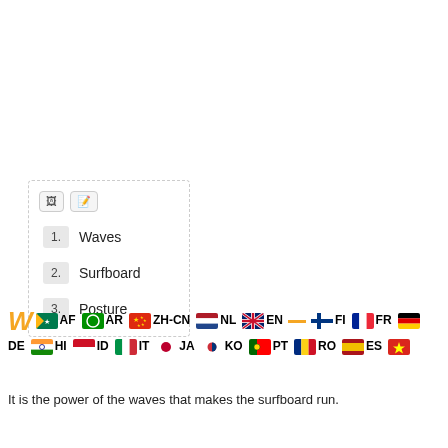[Figure (screenshot): UI widget with dashed border showing a numbered list: 1. Waves, 2. Surfboard, 3. Posture, with two tab icons at top]
[Figure (infographic): Row of country flags with language codes: AF, AR, ZH-CN, NL, EN, FI, FR, DE, HI, ID, IT, JA, KO, PT, RO, ES, VI, plus stylized W logo and underline]
It is the power of the waves that makes the surfboard run.